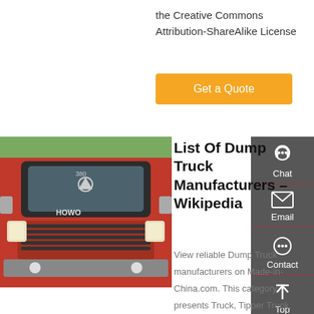the Creative Commons Attribution-ShareAlike License
Get a Quote
[Figure (photo): Red Sinotruk HOWO dump truck front view]
List Of Dump Truck Manufacturers – Wikipedia
View reliable Dump Truck manufacturers on Made-in-China.com. This category presents Truck, Tipper Truck, from China Dump Truck suppliers to global buyers. Used Tipper Lorry Sinotruk HOWO